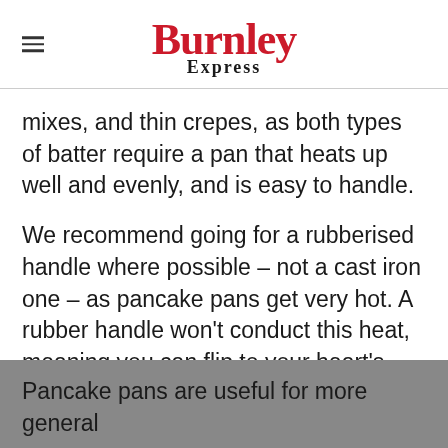Burnley Express
mixes, and thin crepes, as both types of batter require a pan that heats up well and evenly, and is easy to handle.
We recommend going for a rubberised handle where possible – not a cast iron one – as pancake pans get very hot. A rubber handle won't conduct this heat, meaning you can flip to your heart's content without having to wear an oven glove.
Pancake pans are useful for more general cooking too. They're great for looking at